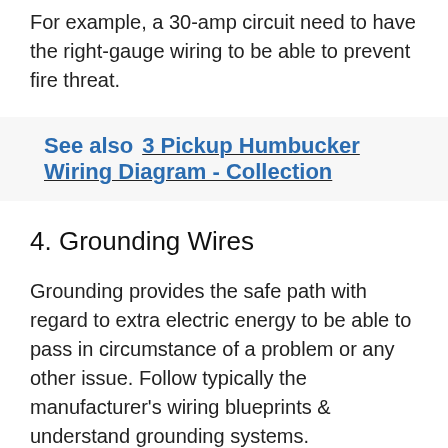For example, a 30-amp circuit need to have the right-gauge wiring to be able to prevent fire threat.
See also  3 Pickup Humbucker Wiring Diagram - Collection
4. Grounding Wires
Grounding provides the safe path with regard to extra electric energy to be able to pass in circumstance of a problem or any other issue. Follow typically the manufacturer’s wiring blueprints & understand grounding systems.
5. Boxes & Clamps
A person need to make sure enclosing all